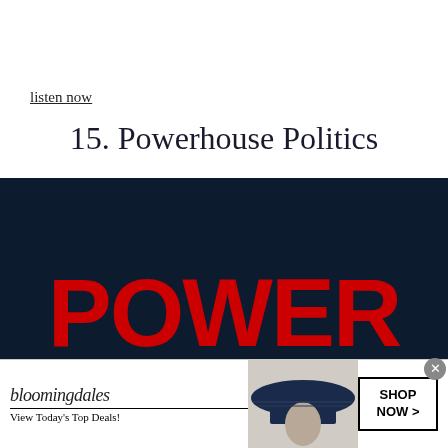listen now
15. Powerhouse Politics
[Figure (photo): Dark navy background with large bold red text reading 'POWER' and partially visible 'HOUSE' below it — the Powerhouse Politics podcast cover art]
[Figure (infographic): Bloomingdale's advertisement banner: bloomingdales logo, 'View Today's Top Deals!', woman in wide-brimmed navy hat, 'SHOP NOW >' button]